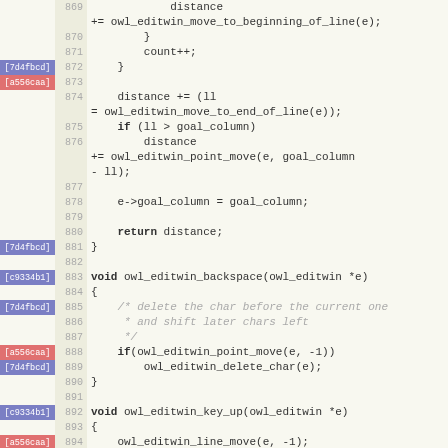[Figure (screenshot): Source code viewer showing C code for owl_editwin functions with line numbers 869-897, commit annotations in left gutter (blue: [7d4fbcd], red: [a556caa], blue: [c9334b1]), and syntax highlighting. Shows functions owl_editwin_backspace, owl_editwin_key_up, and owl_editwin_key_down.]